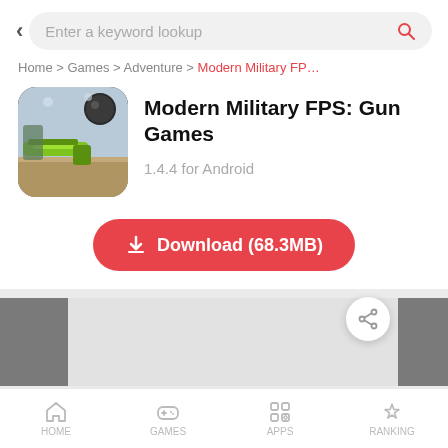[Figure (screenshot): Mobile app store search bar with back arrow and search icon]
Home > Games > Adventure > Modern Military FP…
[Figure (illustration): Modern Military FPS: Gun Games app icon showing a soldier with a weapon]
Modern Military FPS: Gun Games
1.4.4 for Android
[Figure (other): Download button showing Download (68.3MB)]
[Figure (screenshot): App screenshot thumbnails with share button]
[Figure (other): Bottom navigation bar with HOME, GAMES, APPS, RANKING icons]